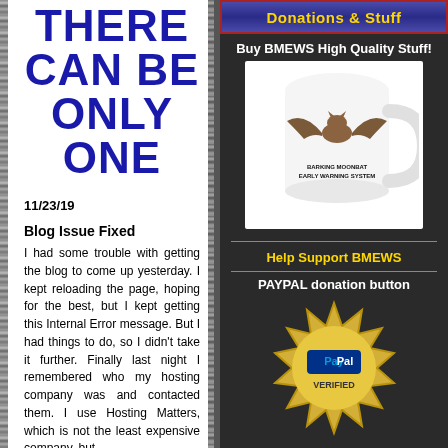THERE CAN BE ONLY ONE
11/23/19
Blog Issue Fixed
I had some trouble with getting the blog to come up yesterday. I kept reloading the page, hoping for the best, but I kept getting this Internal Error message. But I had things to do, so I didn't take it further. Finally last night I remembered who my hosting company was and contacted them. I use Hosting Matters, which is not the least expensive company, but
Donations & Stuff
Buy BMEWS High Quality Stuff!
[Figure (photo): White coffee mug with a bat image and text 'BARKING MOONBAT EARLY WARNING SYSTEM']
Help Support BMEWS
PAYPAL donation button
[Figure (logo): PayPal Verified gold seal logo]
Donate